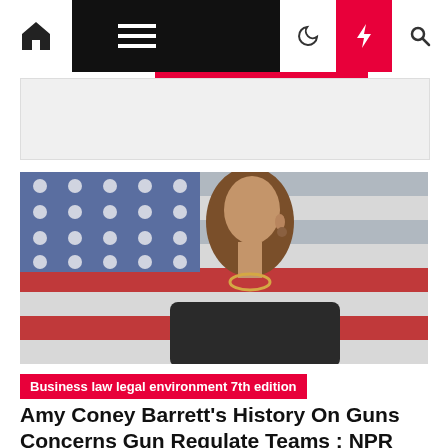Navigation bar with home, menu, dark mode, flash, search icons
[Figure (photo): Amy Coney Barrett standing in front of an American flag, wearing a dark jacket and necklace, looking to the side]
Business law legal environment 7th edition
Amy Coney Barrett's History On Guns Concerns Gun Regulate Teams : NPR